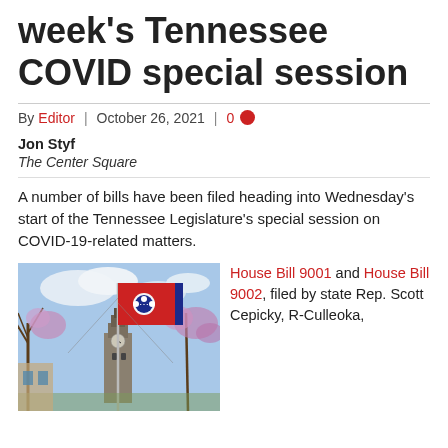week's Tennessee COVID special session
By Editor | October 26, 2021 | 0
Jon Styf
The Center Square
A number of bills have been filed heading into Wednesday's start of the Tennessee Legislature's special session on COVID-19-related matters.
[Figure (photo): Tennessee state flag flying on a flagpole with a clock tower building and blooming trees in the background against a partly cloudy sky.]
House Bill 9001 and House Bill 9002, filed by state Rep. Scott Cepicky, R-Culleoka,